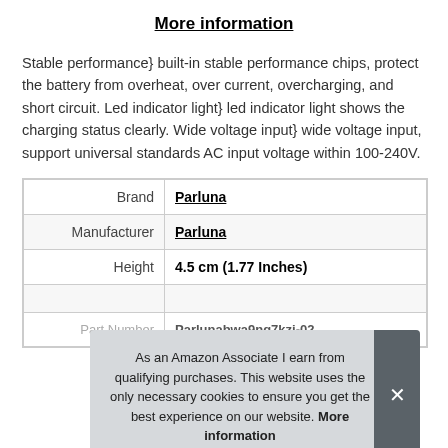More information
Stable performance} built-in stable performance chips, protect the battery from overheat, over current, overcharging, and short circuit. Led indicator light} led indicator light shows the charging status clearly. Wide voltage input} wide voltage input, support universal standards AC input voltage within 100-240V.
| Brand | Parluna |
| Manufacturer | Parluna |
| Height | 4.5 cm (1.77 Inches) |
|  |  |
| Part Number | Parlunabwa9ng7kzi-02 |
As an Amazon Associate I earn from qualifying purchases. This website uses the only necessary cookies to ensure you get the best experience on our website. More information